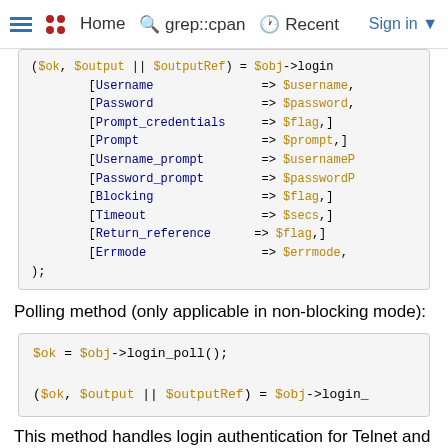Home  grep::cpan  Recent  Sign in
[Figure (screenshot): Code block showing login method parameters: ($ok, $output || $outputRef) = $obj->login with Username, Password, Prompt_credentials, Prompt, Username_prompt, Password_prompt, Blocking, Timeout, Return_reference, Errmode parameters, followed by );]
Polling method (only applicable in non-blocking mode):
[Figure (screenshot): Code block showing: $ok = $obj->login_poll(); and ($ok, $output || $outputRef) = $obj->login_]
This method handles login authentication for Telnet and Serial port access on a generic host. If a login/username prompt is seen, the